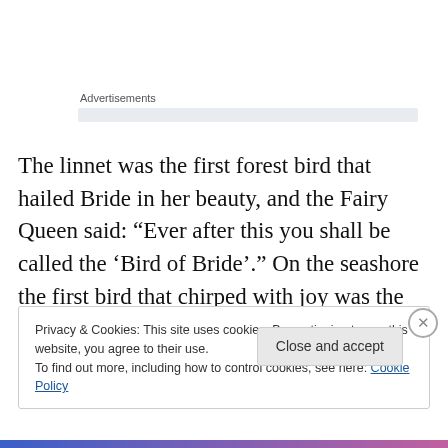Advertisements
The linnet was the first forest bird that hailed Bride in her beauty, and the Fairy Queen said: “Ever after this you shall be called the ‘Bird of Bride’.” On the seashore the first bird that chirped with joy was the oyster-catcher, and the Fairy Queen said: “Ever after this you shall be called the ‘Page of Bride’.”
Privacy & Cookies: This site uses cookies. By continuing to use this website, you agree to their use.
To find out more, including how to control cookies, see here: Cookie Policy